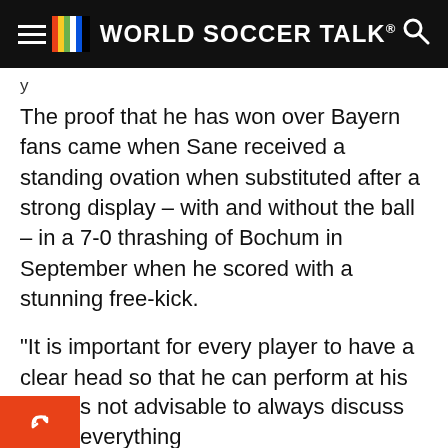WORLD SOCCER TALK
The proof that he has won over Bayern fans came when Sane received a standing ovation when substituted after a strong display – with and without the ball – in a 7-0 thrashing of Bochum in September when he scored with a stunning free-kick.
“It is important for every player to have a clear head so that he can perform at his best,” said Nagelsmann.
“We haven’t given Leroy any special treatment, not even after the whistles against Cologne.
s not advisable to always discuss everything